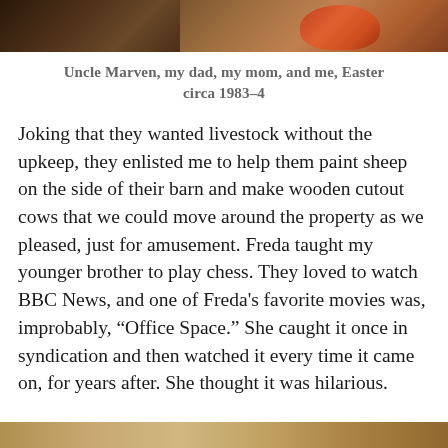[Figure (photo): Top portion of a photograph showing people, cropped at the top of the page]
Uncle Marven, my dad, my mom, and me, Easter circa 1983–4
Joking that they wanted livestock without the upkeep, they enlisted me to help them paint sheep on the side of their barn and make wooden cutout cows that we could move around the property as we pleased, just for amusement. Freda taught my younger brother to play chess. They loved to watch BBC News, and one of Freda’s favorite movies was, improbably, “Office Space.” She caught it once in syndication and then watched it every time it came on, for years after. She thought it was hilarious.
[Figure (photo): Bottom portion of another photograph, partially visible at the bottom of the page]